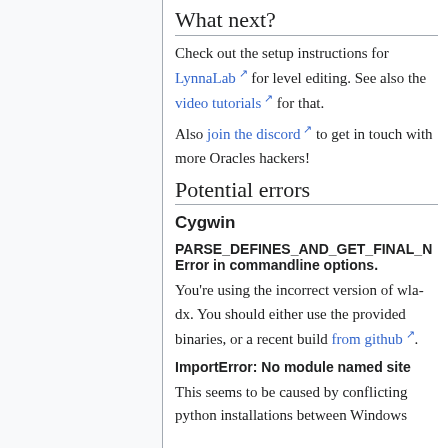What next?
Check out the setup instructions for LynnaLab for level editing. See also the video tutorials for that.
Also join the discord to get in touch with more Oracles hackers!
Potential errors
Cygwin
PARSE_DEFINES_AND_GET_FINAL_N Error in commandline options.
You're using the incorrect version of wla-dx. You should either use the provided binaries, or a recent build from github.
ImportError: No module named site
This seems to be caused by conflicting python installations between Windows